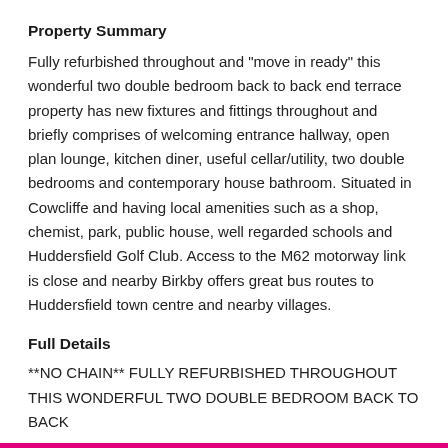Property Summary
Fully refurbished throughout and "move in ready" this wonderful two double bedroom back to back end terrace property has new fixtures and fittings throughout and briefly comprises of welcoming entrance hallway, open plan lounge, kitchen diner, useful cellar/utility, two double bedrooms and contemporary house bathroom. Situated in Cowcliffe and having local amenities such as a shop, chemist, park, public house, well regarded schools and Huddersfield Golf Club. Access to the M62 motorway link is close and nearby Birkby offers great bus routes to Huddersfield town centre and nearby villages.
Full Details
**NO CHAIN** FULLY REFURBISHED THROUGHOUT THIS WONDERFUL TWO DOUBLE BEDROOM BACK TO BACK